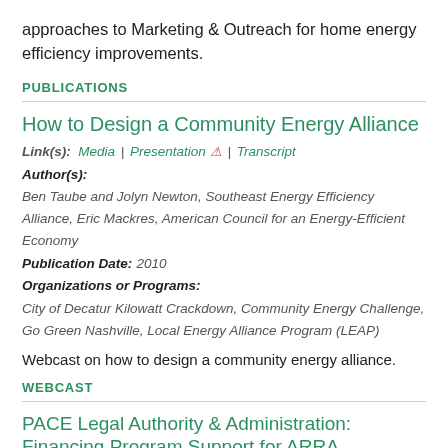approaches to Marketing & Outreach for home energy efficiency improvements.
PUBLICATIONS
How to Design a Community Energy Alliance
Link(s): Media | Presentation | Transcript
Author(s):
Ben Taube and Jolyn Newton, Southeast Energy Efficiency Alliance, Eric Mackres, American Council for an Energy-Efficient Economy
Publication Date: 2010
Organizations or Programs:
City of Decatur Kilowatt Crackdown, Community Energy Challenge, Go Green Nashville, Local Energy Alliance Program (LEAP)
Webcast on how to design a community energy alliance.
WEBCAST
PACE Legal Authority & Administration: Financing Program Support for ARRA Recipients